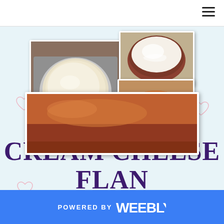[Figure (photo): Navigation bar with hamburger menu icon at top right]
[Figure (photo): Food photo collage showing cream cheese flan preparation: unbaked flan in pan on left, cream cheese mixture in bowl on top right, and finished baked flan on plate on bottom right]
CREAM CHEESE FLAN
[Figure (photo): Close-up photo of cream cheese flan showing caramel glaze surface]
POWERED BY weebly